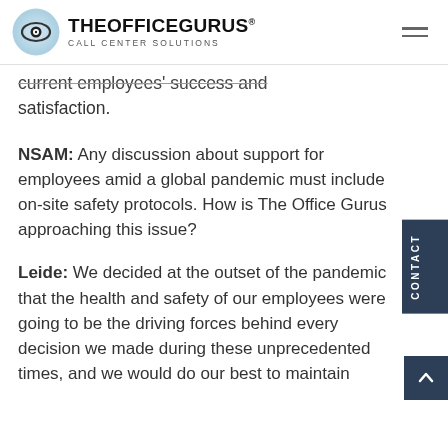THE OFFICE GURUS CALL CENTER SOLUTIONS
current employees' success and satisfaction.
NSAM: Any discussion about support for employees amid a global pandemic must include on-site safety protocols. How is The Office Gurus approaching this issue?
Leide: We decided at the outset of the pandemic that the health and safety of our employees were going to be the driving forces behind every decision we made during these unprecedented times, and we would do our best to maintain